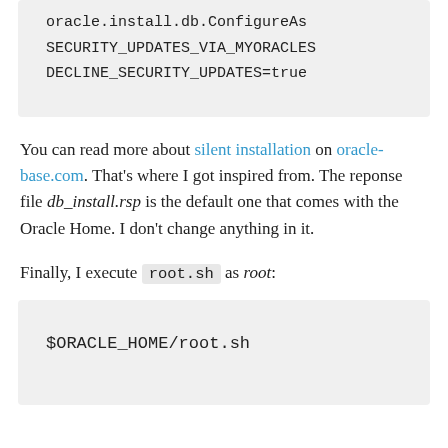[Figure (screenshot): Code block showing oracle.install.db.ConfigureAs... SECURITY_UPDATES_VIA_MYORACLES... DECLINE_SECURITY_UPDATES=true]
You can read more about silent installation on oracle-base.com. That’s where I got inspired from. The reponse file db_install.rsp is the default one that comes with the Oracle Home. I don’t change anything in it.
Finally, I execute root.sh as root:
[Figure (screenshot): Code block showing $ORACLE_HOME/root.sh]